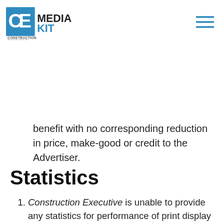CE MEDIA KIT — Construction Executive
benefit with no corresponding reduction in price, make-good or credit to the Advertiser.
Statistics
Construction Executive is unable to provide any statistics for performance of print display ads.
For digital products, statistics will be provided in the format and timeframe as described in the specs for each digital